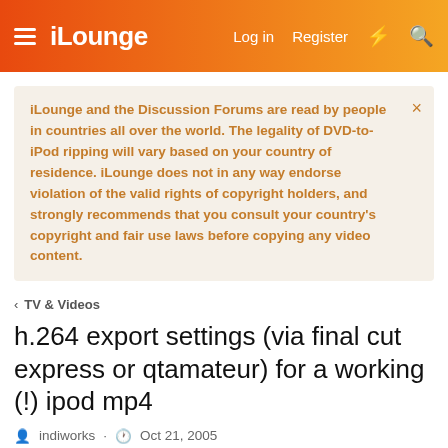iLounge — Log in · Register
iLounge and the Discussion Forums are read by people in countries all over the world. The legality of DVD-to-iPod ripping will vary based on your country of residence. iLounge does not in any way endorse violation of the valid rights of copyright holders, and strongly recommends that you consult your country's copyright and fair use laws before copying any video content.
TV & Videos
h.264 export settings (via final cut express or qtamateur) for a working (!) ipod mp4
indiworks · Oct 21, 2005
indiworks
New member